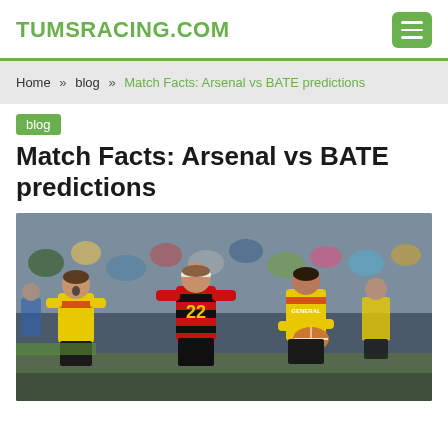TUMSRACING.COM
Home » blog » Match Facts: Arsenal vs BATE predictions
blog
Match Facts: Arsenal vs BATE predictions
[Figure (photo): Rugby match photo showing players in yellow and red jerseys competing for the ball. Player wearing number 22 in red/black striped kit is prominently visible. The match is played in a stadium with spectators in the background.]